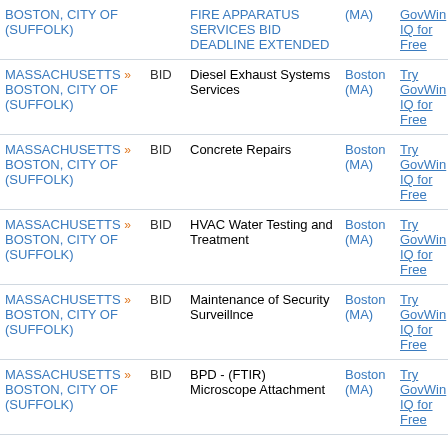| Agency | Type | Title | Location | Action |
| --- | --- | --- | --- | --- |
| MASSACHUSETTS » BOSTON, CITY OF (SUFFOLK) | BID | FIRE APPARATUS SERVICES BID DEADLINE EXTENDED | Boston (MA) | Try GovWin IQ for Free |
| MASSACHUSETTS » BOSTON, CITY OF (SUFFOLK) | BID | Diesel Exhaust Systems Services | Boston (MA) | Try GovWin IQ for Free |
| MASSACHUSETTS » BOSTON, CITY OF (SUFFOLK) | BID | Concrete Repairs | Boston (MA) | Try GovWin IQ for Free |
| MASSACHUSETTS » BOSTON, CITY OF (SUFFOLK) | BID | HVAC Water Testing and Treatment | Boston (MA) | Try GovWin IQ for Free |
| MASSACHUSETTS » BOSTON, CITY OF (SUFFOLK) | BID | Maintenance of Security Surveillnce | Boston (MA) | Try GovWin IQ for Free |
| MASSACHUSETTS » BOSTON, CITY OF (SUFFOLK) | BID | BPD - (FTIR) Microscope Attachment | Boston (MA) | Try GovWin IQ for Free |